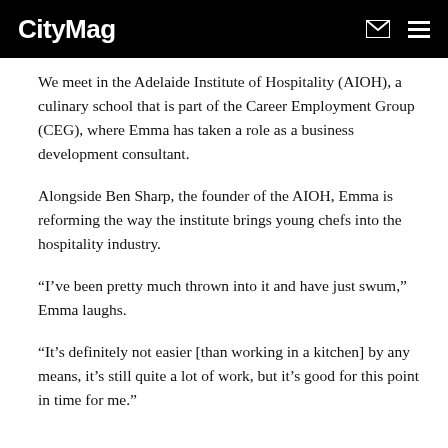CityMag
We meet in the Adelaide Institute of Hospitality (AIOH), a culinary school that is part of the Career Employment Group (CEG), where Emma has taken a role as a business development consultant.
Alongside Ben Sharp, the founder of the AIOH, Emma is reforming the way the institute brings young chefs into the hospitality industry.
“I’ve been pretty much thrown into it and have just swum,” Emma laughs.
“It’s definitely not easier [than working in a kitchen] by any means, it’s still quite a lot of work, but it’s good for this point in time for me.”